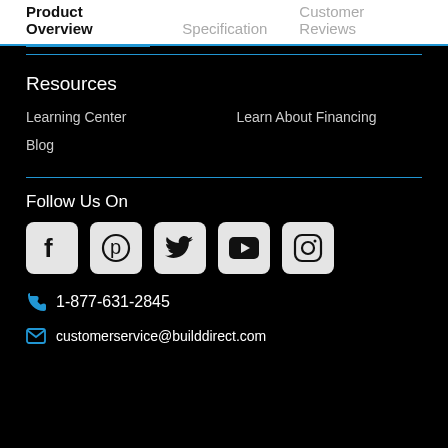Product Overview   Specification   Customer Reviews
Resources
Learning Center
Learn About Financing
Blog
Follow Us On
[Figure (infographic): Social media icons: Facebook, Pinterest, Twitter, YouTube, Instagram]
1-877-631-2845
customerservice@builddirect.com